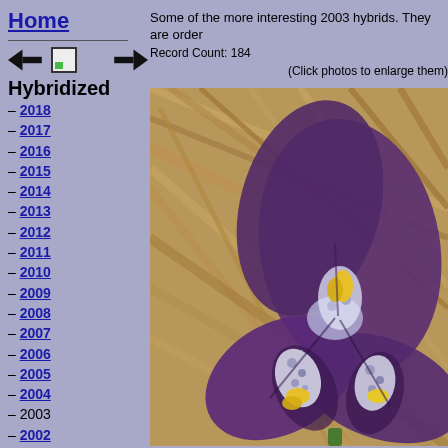Home
Hybridized
– 2018
– 2017
– 2016
– 2015
– 2014
– 2013
– 2012
– 2011
– 2010
– 2009
– 2008
– 2007
– 2006
– 2005
– 2004
– 2003
– 2002
– 2001
– 2000
– 1999
– 1998
– 1997
Some of the more interesting 2003 hybrids. They are order... Record Count: 184
(Click photos to enlarge them)
[Figure (photo): Close-up photograph of a purple/violet iris flower with yellow and white markings at the center, set against a background of dry brown straw/mulch]